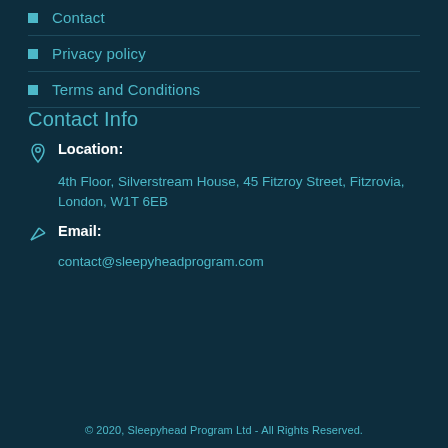Contact
Privacy policy
Terms and Conditions
Contact Info
Location: 4th Floor, Silverstream House, 45 Fitzroy Street, Fitzrovia, London, W1T 6EB
Email: contact@sleepyheadprogram.com
© 2020, Sleepyhead Program Ltd - All Rights Reserved.